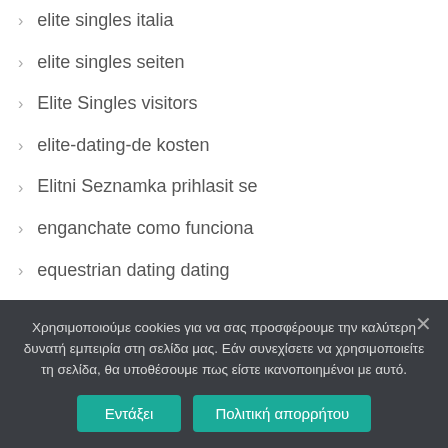elite singles italia
elite singles seiten
Elite Singles visitors
elite-dating-de kosten
Elitni Seznamka prihlasit se
enganchate como funciona
equestrian dating dating
Equestrian Dating review
equestrian singles avis
Χρησιμοποιούμε cookies για να σας προσφέρουμε την καλύτερη δυνατή εμπειρία στη σελίδα μας. Εάν συνεχίσετε να χρησιμοποιείτε τη σελίδα, θα υποθέσουμε πως είστε ικανοποιημένοι με αυτό.